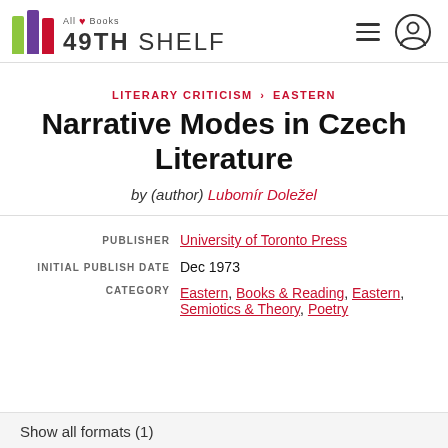All Books 49TH SHELF
LITERARY CRITICISM › EASTERN
Narrative Modes in Czech Literature
by (author) Lubomír Doležel
| label | value |
| --- | --- |
| PUBLISHER | University of Toronto Press |
| INITIAL PUBLISH DATE | Dec 1973 |
| CATEGORY | Eastern, Books & Reading, Eastern, Semiotics & Theory, Poetry |
Show all formats (1)